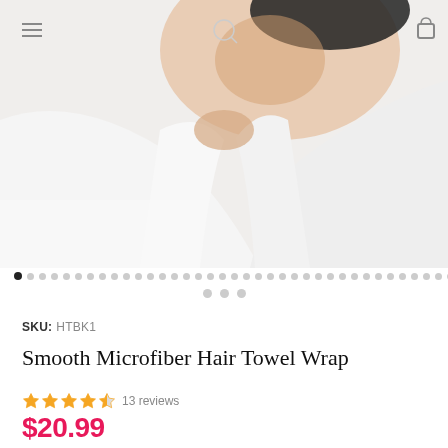[Figure (photo): Woman smiling wearing a white bathrobe and a dark hair towel wrap on her head, against a white background. Navigation bar icons visible at top.]
SKU: HTBK1
Smooth Microfiber Hair Towel Wrap
13 reviews
$20.99